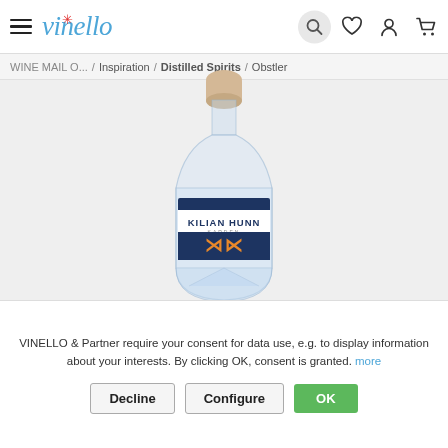vinello — navigation header with hamburger menu, search, wishlist, account, cart icons
WINE MAIL O... / Inspiration / Distilled Spirits / Obstler
[Figure (photo): A clear glass bottle with a cork stopper and a navy blue label reading 'KILIAN HUNN' in white and orange letters, with an orange KH monogram logo on a dark background band. The bottle contains a clear liquid (Obstler/fruit brandy).]
VINELLO & Partner require your consent for data use, e.g. to display information about your interests. By clicking OK, consent is granted. more
Decline   Configure   OK